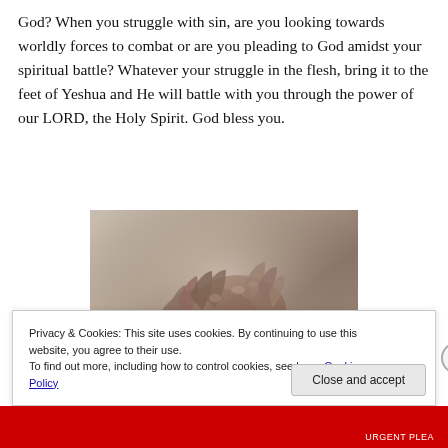God? When you struggle with sin, are you looking towards worldly forces to combat or are you pleading to God amidst your spiritual battle? Whatever your struggle in the flesh, bring it to the feet of Yeshua and He will battle with you through the power of our LORD, the Holy Spirit. God bless you.
[Figure (photo): Close-up photo of praying hands clasped together, resting on a surface, with a soft blurred background in muted warm tones.]
Privacy & Cookies: This site uses cookies. By continuing to use this website, you agree to their use.
To find out more, including how to control cookies, see here: Cookie Policy
Close and accept